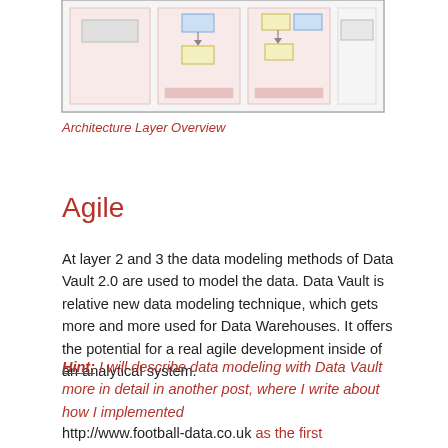[Figure (schematic): Architecture Layer Overview diagram showing boxes and layers with blue and yellow colored components arranged in a grid-like structure within a bordered frame]
Architecture Layer Overview
Agile
At layer 2 and 3 the data modeling methods of Data Vault 2.0 are used to model the data. Data Vault is relative new data modeling technique, which gets more and more used for Data Warehouses. It offers the potential for a real agile development inside of an analytical system.
Hint: I will describe data modeling with Data Vault more in detail in another post, where I write about how I implemented http://www.football-data.co.uk as the first